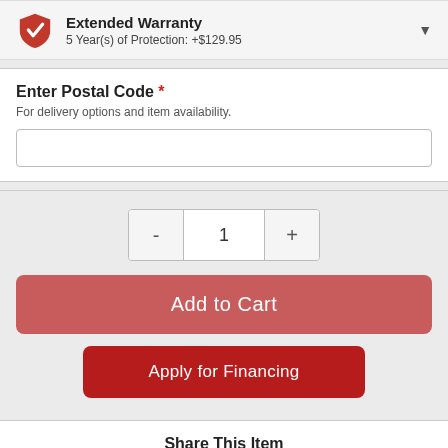[Figure (infographic): Extended Warranty section with red shield checkmark icon, title 'Extended Warranty', subtitle '5 Year(s) of Protection: +$129.95', and a dropdown arrow]
Extended Warranty
5 Year(s) of Protection: +$129.95
Enter Postal Code *
For delivery options and item availability.
[Figure (screenshot): Quantity selector with minus button, value '1', and plus button, followed by 'Add to Cart' red button and 'Apply for Financing' dark red button]
Share This Item
[Figure (infographic): Share icons: email (grey), Twitter (blue), Facebook (dark blue), Pinterest (red), More (red-pink)]